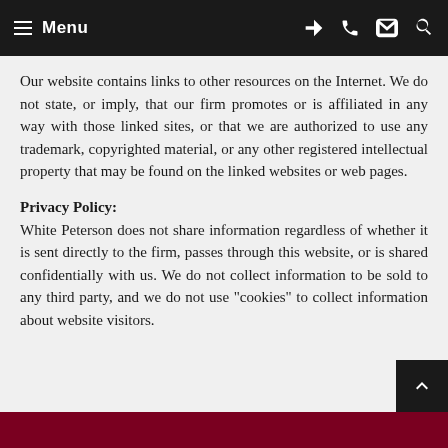Menu
Our website contains links to other resources on the Internet. We do not state, or imply, that our firm promotes or is affiliated in any way with those linked sites, or that we are authorized to use any trademark, copyrighted material, or any other registered intellectual property that may be found on the linked websites or web pages.
Privacy Policy:
White Peterson does not share information regardless of whether it is sent directly to the firm, passes through this website, or is shared confidentially with us. We do not collect information to be sold to any third party, and we do not use "cookies" to collect information about website visitors.